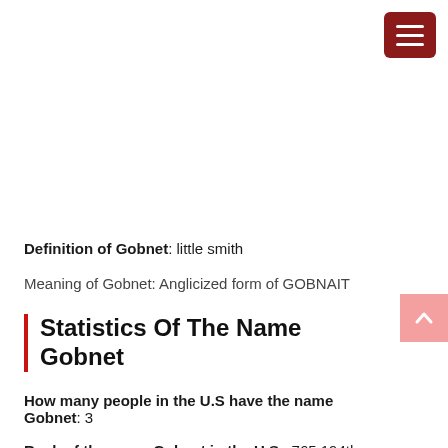[Figure (other): Dark red hamburger menu button icon in top right corner]
Definition of Gobnet: little smith
Meaning of Gobnet: Anglicized form of GOBNAIT
Statistics Of The Name Gobnet
How many people in the U.S have the name Gobnet: 3
Rank of the name Gobnet in the U.S.: 765,194th